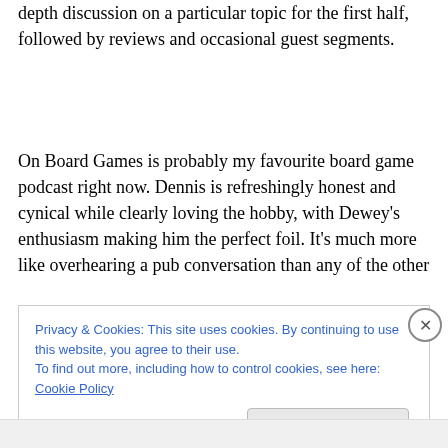depth discussion on a particular topic for the first half, followed by reviews and occasional guest segments.
On Board Games is probably my favourite board game podcast right now. Dennis is refreshingly honest and cynical while clearly loving the hobby, with Dewey's enthusiasm making him the perfect foil. It's much more like overhearing a pub conversation than any of the other
Privacy & Cookies: This site uses cookies. By continuing to use this website, you agree to their use.
To find out more, including how to control cookies, see here: Cookie Policy

Close and accept